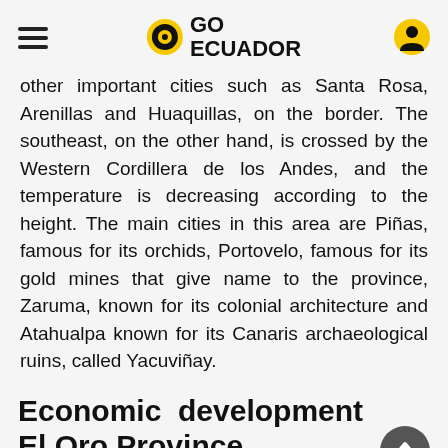GO ECUADOR
other important cities such as Santa Rosa, Arenillas and Huaquillas, on the border. The southeast, on the other hand, is crossed by the Western Cordillera de los Andes, and the temperature is decreasing according to the height. The main cities in this area are Piñas, famous for its orchids, Portovelo, famous for its gold mines that give name to the province, Zaruma, known for its colonial architecture and Atahualpa known for its Canaris archaeological ruins, called Yacuviñay.
Economic development El Oro Province
This province bases its trade on exports of